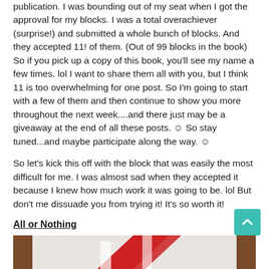publication. I was bounding out of my seat when I got the approval for my blocks. I was a total overachiever (surprise!) and submitted a whole bunch of blocks. And they accepted 11! of them. (Out of 99 blocks in the book) So if you pick up a copy of this book, you'll see my name a few times. lol I want to share them all with you, but I think 11 is too overwhelming for one post. So I'm going to start with a few of them and then continue to show you more throughout the next week....and there just may be a giveaway at the end of all these posts. ☺ So stay tuned...and maybe participate along the way. ☺
So let's kick this off with the block that was easily the most difficult for me. I was almost sad when they accepted it because I knew how much work it was going to be. lol But don't me dissuade you from trying it! It's so worth it!
All or Nothing
(By the way, my working title for this was Carousal...their title is a little more intimidating I think!)
[Figure (photo): Partial view of a quilt block photo on a wooden surface, showing red and white fabric pieces]